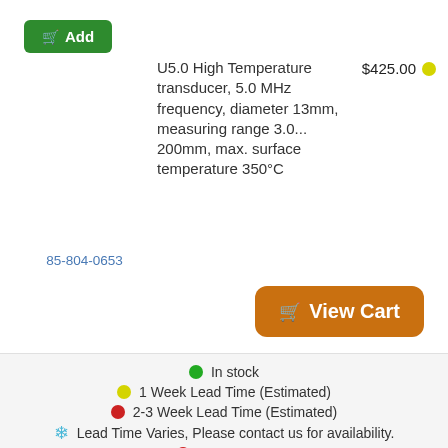[Figure (other): Green Add to cart button with shopping cart icon]
85-804-0653
U5.0 High Temperature transducer, 5.0 MHz frequency, diameter 13mm, measuring range 3.0...200mm, max. surface temperature 350°C
$425.00
[Figure (other): Orange View Cart button with shopping cart icon]
In stock
1 Week Lead Time (Estimated)
2-3 Week Lead Time (Estimated)
Lead Time Varies, Please contact us for availability.
Unavailable